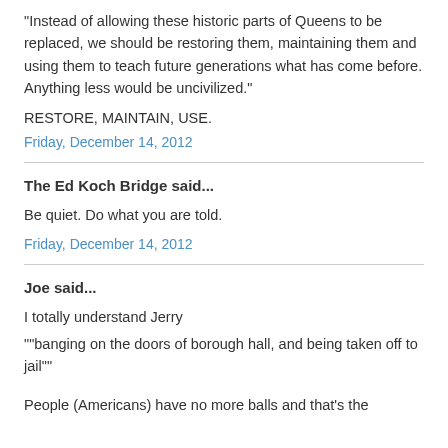"Instead of allowing these historic parts of Queens to be replaced, we should be restoring them, maintaining them and using them to teach future generations what has come before. Anything less would be uncivilized."
RESTORE, MAINTAIN, USE.
Friday, December 14, 2012
The Ed Koch Bridge said...
Be quiet. Do what you are told.
Friday, December 14, 2012
Joe said...
I totally understand Jerry
""banging on the doors of borough hall, and being taken off to jail""
People (Americans) have no more balls and that's the